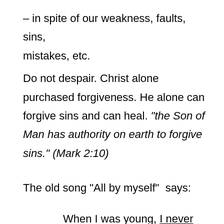– in spite of our weakness, faults, sins, mistakes, etc.
Do not despair. Christ alone purchased forgiveness. He alone can forgive sins and can heal. “the Son of Man has authority on earth to forgive sins.” (Mark 2:10)
The old song “All by myself”  says:
When I was young, I never needed anyone